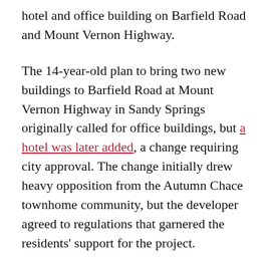hotel and office building on Barfield Road and Mount Vernon Highway.
The 14-year-old plan to bring two new buildings to Barfield Road at Mount Vernon Highway in Sandy Springs originally called for office buildings, but a hotel was later added, a change requiring city approval. The change initially drew heavy opposition from the Autumn Chace townhome community, but the developer agreed to regulations that garnered the residents' support for the project.
The 3.7-acre lot at 6403 Barfield Road sits west of Ga. 400 and is adjacent to the Promenade at Northplace condo development. The original